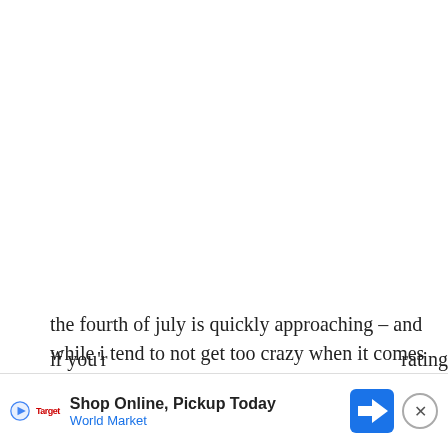[Figure (photo): Large image area at top of page (mostly white/blank in this crop)]
the fourth of july is quickly approaching – and while i tend to not get too crazy when it comes to decorating for holidays and such, i do love the little details that make it a special occasion. cute napkins, fun coordinating dishes, and paper straws at my outdoor dinner table allow me to make the perfect amount of fuss without exhausting myself nor my resources.
[Figure (screenshot): Advertisement bar: Shop Online, Pickup Today – World Market, with play button logo, navigation arrow icon, and close button]
if you'r…rating